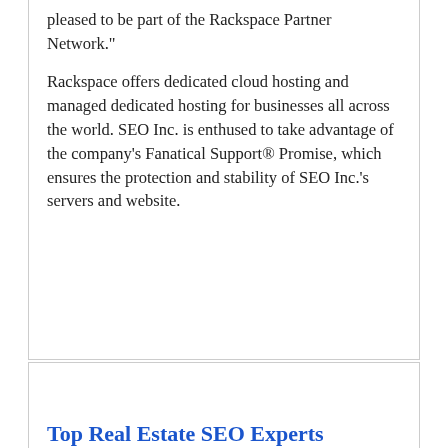pleased to be part of the Rackspace Partner Network."

Rackspace offers dedicated cloud hosting and managed dedicated hosting for businesses all across the world. SEO Inc. is enthused to take advantage of the company's Fanatical Support® Promise, which ensures the protection and stability of SEO Inc.'s servers and website.
Top Real Estate SEO Experts
by admin @ Redline SEO Services | Phoenix Arizona's Best SEO Company
Fri May 15 18:12:23 PDT 2015
If you are a real estate agent and would like to get your homes sold quicker, look no further. With our SEO strategies, we can take your website and place it at the top of the search engines (such as Google and Yahoo) resulting in more exposure to your listings which equals more sales and [...]